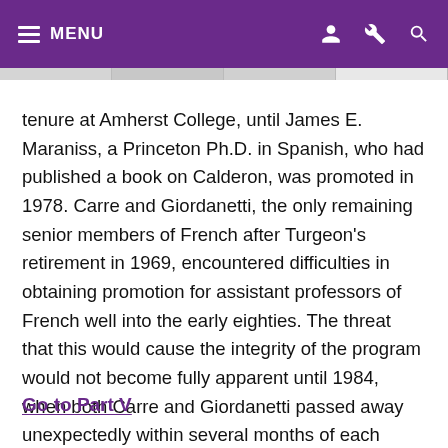MENU
tenure at Amherst College, until James E. Maraniss, a Princeton Ph.D. in Spanish, who had published a book on Calderon, was promoted in 1978. Carre and Giordanetti, the only remaining senior members of French after Turgeon's retirement in 1969, encountered difficulties in obtaining promotion for assistant professors of French well into the early eighties. The threat that this would cause the integrity of the program would not become fully apparent until 1984, when both Carre and Giordanetti passed away unexpectedly within several months of each other, leaving the Romance Languages Department without any senior faculty in French.
Go to Part V